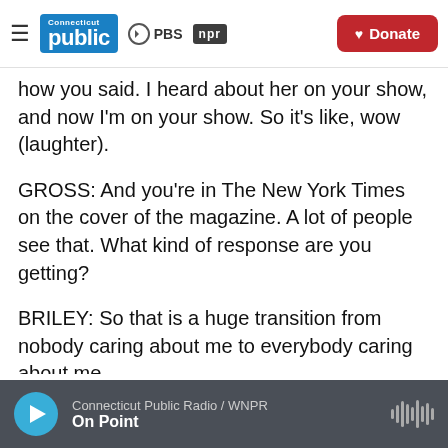[Figure (logo): Connecticut Public PBS NPR logo header with Donate button]
how you said. I heard about her on your show, and now I'm on your show. So it's like, wow (laughter).
GROSS: And you're in The New York Times on the cover of the magazine. A lot of people see that. What kind of response are you getting?
BRILEY: So that is a huge transition from nobody caring about me to everybody caring about me.
GROSS: So the way Emily started
Connecticut Public Radio / WNPR  On Point